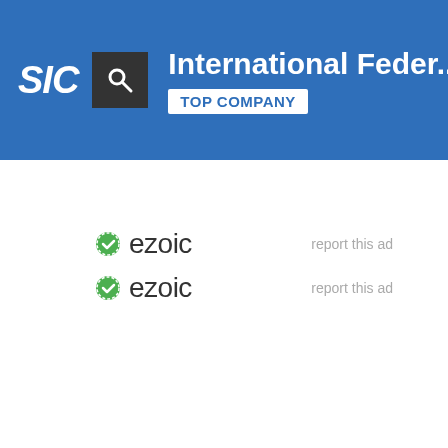International Feder... TOP COMPANY
[Figure (logo): Ezoic logo with green circle icon and 'ezoic' text, repeated twice with 'report this ad' links]
report this ad
report this ad